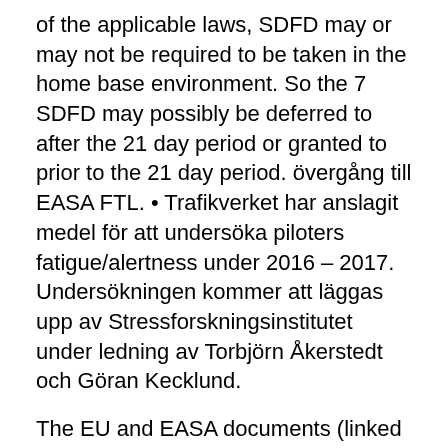of the applicable laws, SDFD may or may not be required to be taken in the home base environment. So the 7 SDFD may possibly be deferred to after the 21 day period or granted to prior to the 21 day period. övergång till EASA FTL. • Trafikverket har anslagit medel för att undersöka piloters fatigue/alertness under 2016 – 2017. Undersökningen kommer att läggas upp av Stressforskningsinstitutet under ledning av Torbjörn Åkerstedt och Göran Kecklund.
The EU and EASA documents (linked to above) should be used as the official documents. EASA | European Union Aviation Safety Agency: The European Union Authority for aviation safety EASA FTL EASA FTL (Flygarbetstid) Commercial Air Transport with Aeroplanes •Förordningsdelen.